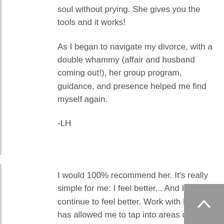soul without prying. She gives you the tools and it works!
As I began to navigate my divorce, with a double whammy (affair and husband coming out!), her group program, guidance, and presence helped me find myself again.
-LH
I would 100% recommend her. It's really simple for me: I feel better... And I want to continue to feel better. Work with Beth has allowed me to tap into areas of my life I didn't even know existed, and bringing those to light is allowing me to grow every day.